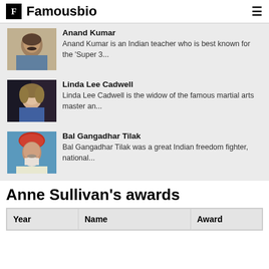Famousbio
Anand Kumar — Anand Kumar is an Indian teacher who is best known for the 'Super 3...
Linda Lee Cadwell — Linda Lee Cadwell is the widow of the famous martial arts master an...
Bal Gangadhar Tilak — Bal Gangadhar Tilak was a great Indian freedom fighter, national...
Anne Sullivan's awards
| Year | Name | Award |
| --- | --- | --- |